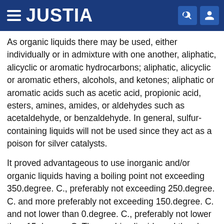JUSTIA
As organic liquids there may be used, either individually or in admixture with one another, aliphatic, alicyclic or aromatic hydrocarbons; aliphatic, alicyclic or aromatic ethers, alcohols, and ketones; aliphatic or aromatic acids such as acetic acid, propionic acid, esters, amines, amides, or aldehydes such as acetaldehyde, or benzaldehyde. In general, sulfur-containing liquids will not be used since they act as a poison for silver catalysts.
It proved advantageous to use inorganic and/or organic liquids having a boiling point not exceeding 350.degree. C., preferably not exceeding 250.degree. C. and more preferably not exceeding 150.degree. C. and not lower than 0.degree. C., preferably not lower than 15.degree. C. The washing liquid used thus has a boiling point in the range of from 0.degree. to 350.degree. C., preferably